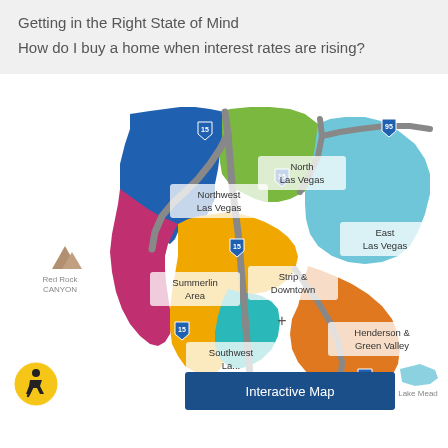Getting in the Right State of Mind
How do I buy a home when interest rates are rising?
[Figure (map): Interactive color-coded map of Las Vegas area neighborhoods including Northwest Las Vegas (blue), North Las Vegas (green), East Las Vegas (light blue), Summerlin Area (pink/red), Strip & Downtown (yellow/gold), Southwest Las Vegas (teal), Henderson & Green Valley (orange). Features highway labels, Red Rock Canyon label, Lake Mead label, and an Interactive Map button overlay.]
Interactive Map